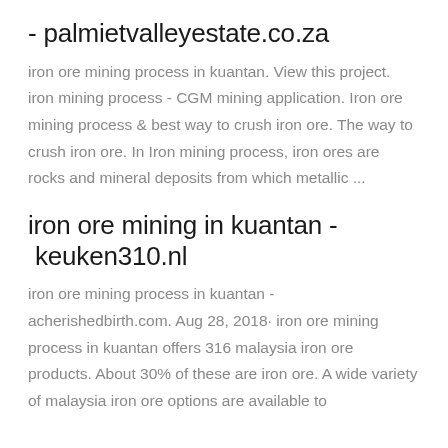- palmietvalleyestate.co.za
iron ore mining process in kuantan. View this project. iron mining process - CGM mining application. Iron ore mining process & best way to crush iron ore. The way to crush iron ore. In Iron mining process, iron ores are rocks and mineral deposits from which metallic ...
iron ore mining in kuantan - keuken310.nl
iron ore mining process in kuantan - acherishedbirth.com. Aug 28, 2018· iron ore mining process in kuantan offers 316 malaysia iron ore products. About 30% of these are iron ore. A wide variety of malaysia iron ore options are available to